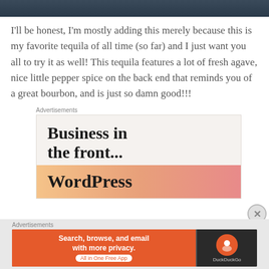[Figure (photo): Dark colored photo at the top of the page, appears to be a cropped image with dark blue/teal tones]
I'll be honest, I'm mostly adding this merely because this is my favorite tequila of all time (so far) and I just want you all to try it as well! This tequila features a lot of fresh agave, nice little pepper spice on the back end that reminds you of a great bourbon, and is just so damn good!!!
Advertisements
[Figure (screenshot): WordPress advertisement banner reading 'Business in the front...' with WordPress logo on an orange/peach gradient background]
Advertisements
[Figure (screenshot): DuckDuckGo advertisement: 'Search, browse, and email with more privacy. All in One Free App' with DuckDuckGo logo on orange and dark background]